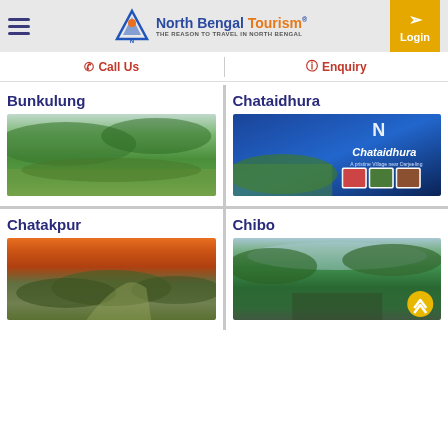North Bengal Tourism® — THE REASON TO TRAVEL IN NORTH BENGAL
☰  Call Us  |  Enquiry
Bunkulung
[Figure (photo): Green tea garden hillside landscape for Bunkulung]
Chataidhura
[Figure (photo): Promotional image for Chataidhura – A pristine Village near Darjeeling, with logo and photo collage on blue background]
Chatakpur
[Figure (photo): Hilltop trail at sunset with orange sky for Chatakpur]
Chibo
[Figure (photo): Lush green forested hillside view for Chibo]